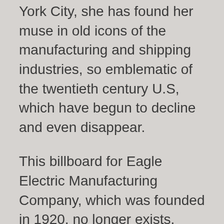York City, she has found her muse in old icons of the manufacturing and shipping industries, so emblematic of the twentieth century U.S, which have begun to decline and even disappear.
This billboard for Eagle Electric Manufacturing Company, which was founded in 1920, no longer exists.
“What strikes me about difference between the billboard advertisements of Eagle era and those of today, is not only the loss of the ‘hand painted sign’ but the change in